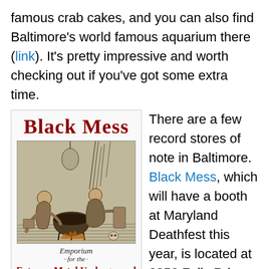famous crab cakes, and you can also find Baltimore's world famous aquarium there (link). It's pretty impressive and worth checking out if you've got some extra time.
[Figure (illustration): Black Mess Emporium advertisement flyer with gothic blackletter logo, medieval woodcut engraving of figures around a cauldron, text reading 'Emporium for the Extreme Metal Underground, CDS · VINYL · CASSETTES · MERCHANDISE · PATCHES · ETC, 3853 Falls Rd, Baltimore, MD · blackmess777@gmail.com']
There are a few record stores of note in Baltimore. Black Mess, which will have a booth at Maryland Deathfest this year, is located at 3853 Falls Rd, Baltimore, MD 21211 (map). Black Mess is a new store and they specialize in underground heavy metal. A reader mentioned that within walking distance of Black Mess is Celebrated Summer